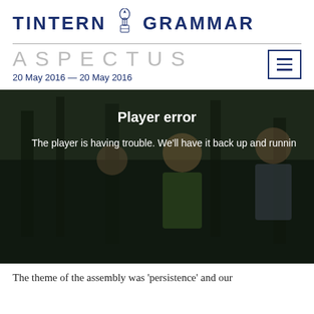TINTERN GRAMMAR
ASPECTUS
20 May 2016 — 20 May 2016
[Figure (photo): Video player area showing students in a forest/bush setting with a 'Player error' overlay message: 'The player is having trouble. We'll have it back up and running...']
The theme of the assembly was ‘persistence’ and our